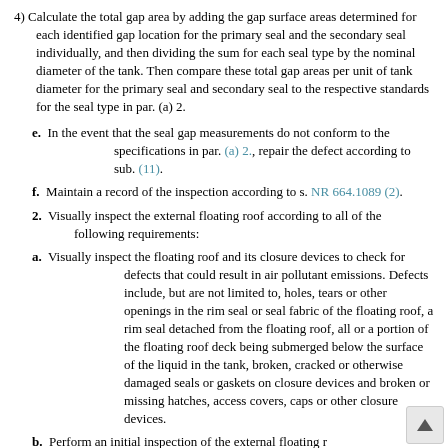4) Calculate the total gap area by adding the gap surface areas determined for each identified gap location for the primary seal and the secondary seal individually, and then dividing the sum for each seal type by the nominal diameter of the tank. Then compare these total gap areas per unit of tank diameter for the primary seal and secondary seal to the respective standards for the seal type in par. (a) 2.
e. In the event that the seal gap measurements do not conform to the specifications in par. (a) 2., repair the defect according to sub. (11).
f. Maintain a record of the inspection according to s. NR 664.1089 (2).
2. Visually inspect the external floating roof according to all of the following requirements:
a. Visually inspect the floating roof and its closure devices to check for defects that could result in air pollutant emissions. Defects include, but are not limited to, holes, tears or other openings in the rim seal or seal fabric of the floating roof, a rim seal detached from the floating roof, all or a portion of the floating roof deck being submerged below the surface of the liquid in the tank, broken, cracked or otherwise damaged seals or gaskets on closure devices and broken or missing hatches, access covers, caps or other closure devices.
b. Perform an initial inspection of the external floating roof and its closure devices on or before the date that the